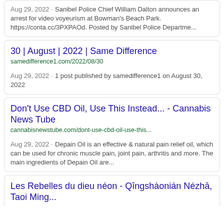Aug 29, 2022 · Sanibel Police Chief William Dalton announces an arrest for video voyeurism at Bowman's Beach Park. https://conta.cc/3PXPAOd. Posted by Sanibel Police Departme...
30 | August | 2022 | Same Difference
samedifference1.com/2022/08/30
Aug 29, 2022 ·  1 post published by samedifference1 on August 30, 2022
Don't Use CBD Oil, Use This Instead... - Cannabis News Tube
cannabisnewstube.com/dont-use-cbd-oil-use-this...
Aug 29, 2022 ·  Depain Oil is an effective & natural pain relief oil, which can be used for chronic muscle pain, joint pain, arthritis and more. The main ingredients of Depain Oil are...
Les Rebelles du dieu néon - Qīngshàonián Nézhā, Taoi Ming...